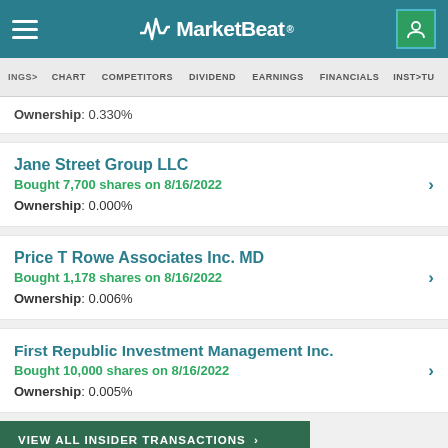MarketBeat
Ownership: 0.330%
Jane Street Group LLC
Bought 7,700 shares on 8/16/2022
Ownership: 0.000%
Price T Rowe Associates Inc. MD
Bought 1,178 shares on 8/16/2022
Ownership: 0.006%
First Republic Investment Management Inc.
Bought 10,000 shares on 8/16/2022
Ownership: 0.005%
VIEW ALL INSIDER TRANSACTIONS >
VIEW ALL INSTITUTIONAL TRANSACTIONS >